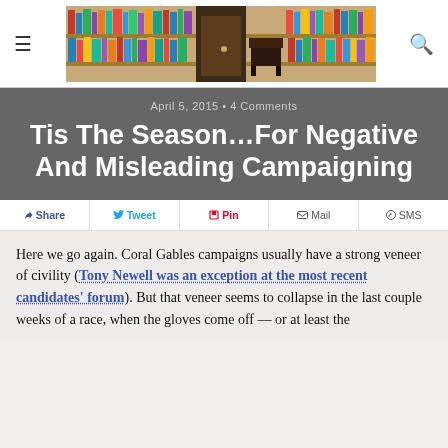≡  [library bookshelf image]  🔍
April 5, 2015 • 4 Comments
Tis The Season…For Negative And Misleading Campaigning
f Share  Tweet  Pin  Mail  SMS
Here we go again. Coral Gables campaigns usually have a strong veneer of civility (Tony Newell was an exception at the most recent candidates' forum). But that veneer seems to collapse in the last couple weeks of a race, when the gloves come off — or at least the